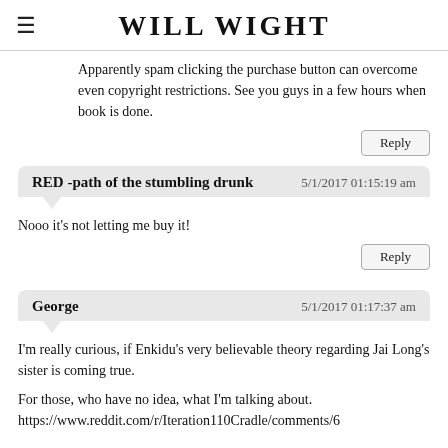WILL WIGHT
Apparently spam clicking the purchase button can overcome even copyright restrictions. See you guys in a few hours when book is done.
Reply
RED -path of the stumbling drunk  5/1/2017 01:15:19 am
Nooo it's not letting me buy it!
Reply
George  5/1/2017 01:17:37 am
I'm really curious, if Enkidu's very believable theory regarding Jai Long's sister is coming true.
For those, who have no idea, what I'm talking about. https://www.reddit.com/r/Iteration110Cradle/comments/6